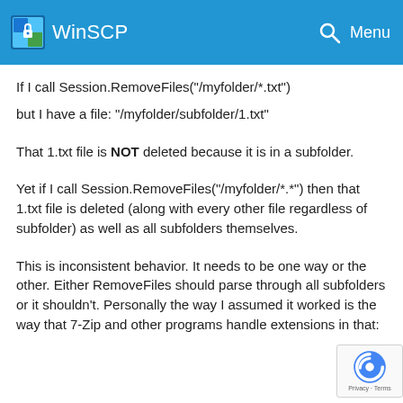WinSCP
If I call Session.RemoveFiles("/myfolder/*.txt")
but I have a file: "/myfolder/subfolder/1.txt"
That 1.txt file is NOT deleted because it is in a subfolder.
Yet if I call Session.RemoveFiles("/myfolder/*.*") then that 1.txt file is deleted (along with every other file regardless of subfolder) as well as all subfolders themselves.
This is inconsistent behavior. It needs to be one way or the other. Either RemoveFiles should parse through all subfolders or it shouldn't. Personally the way I assumed it worked is the way that 7-Zip and other programs handle extensions in that: